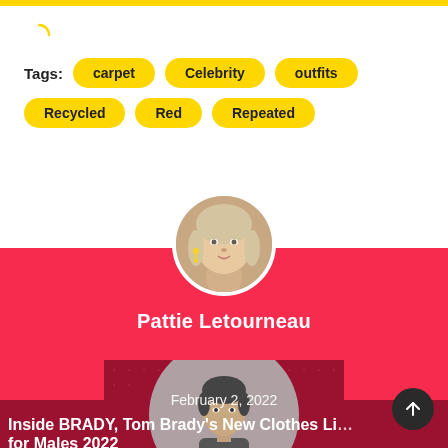Tags: carpet Celebrity outfits Recycled Red Repeated
[Figure (photo): Circular avatar photo of Pattie Letourneau, a woman with light hair and dangling earrings]
Pattie Letourneau
[Figure (photo): Black and white portrait photo of a man (Tom Brady) on dark red dotted background]
February 2, 2022
Inside BRADY, Tom Brady's New Clothes Line for Males 2022